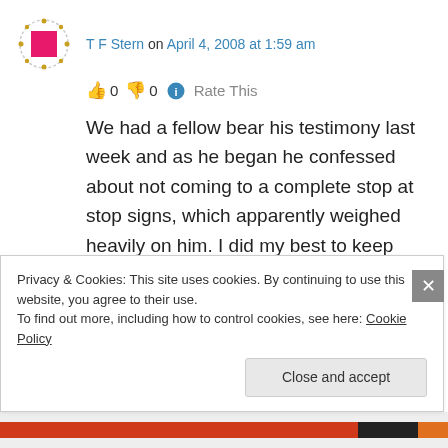T F Stern on April 4, 2008 at 1:59 am
👍 0 👎 0 ℹ Rate This
We had a fellow bear his testimony last week and as he began he confessed about not coming to a complete stop at stop signs, which apparently weighed heavily on him. I did my best to keep from letting go with a belly laugh. Maybe it's not just me, from the comment section I see
Privacy & Cookies: This site uses cookies. By continuing to use this website, you agree to their use.
To find out more, including how to control cookies, see here: Cookie Policy
Close and accept